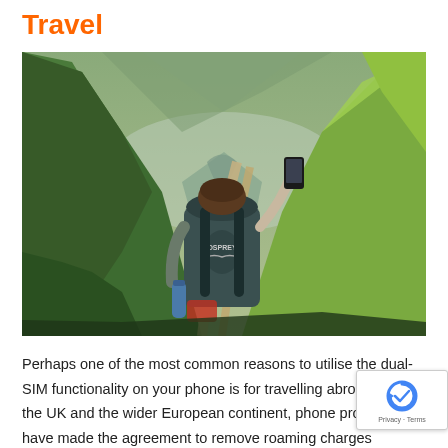Travel
[Figure (photo): Person with an Osprey backpack photographing a mountain valley with a winding dirt path and river below, taken from behind]
Perhaps one of the most common reasons to utilise the dual-SIM functionality on your phone is for travelling abroad. In the UK and the wider European continent, phone providers have made the agreement to remove roaming charges